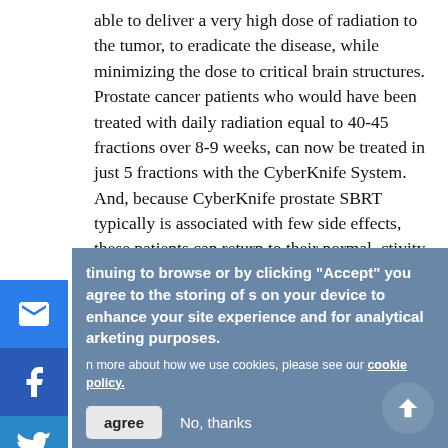able to deliver a very high dose of radiation to the tumor, to eradicate the disease, while minimizing the dose to critical brain structures. Prostate cancer patients who would have been treated with daily radiation equal to 40-45 fractions over 8-9 weeks, can now be treated in just 5 fractions with the CyberKnife System. And, because CyberKnife prostate SBRT typically is associated with few side effects, these patients can return to their normal ctivity on the same day."
Click here to see how the CyberKnife System treats rain tumors and here to see the system treat rostate cancer.
tinuing to browse or by clicking “Accept” you agree to the storing of s on your device to enhance your site experience and for analytical arketing purposes.
n more about how we use cookies, please see our cookie policy.